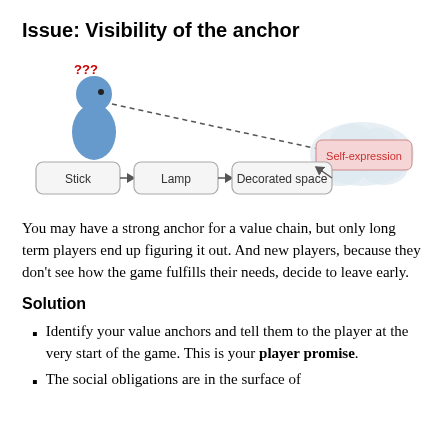Issue: Visibility of the anchor
[Figure (flowchart): A person figure with '???' above it, a dashed arrow pointing right to a cloud shape labeled 'Self-expression' (in red). Below is a linear flow: Stick → Lamp → Decorated space → Self-expression.]
You may have a strong anchor for a value chain, but only long term players end up figuring it out. And new players, because they don't see how the game fulfills their needs, decide to leave early.
Solution
Identify your value anchors and tell them to the player at the very start of the game. This is your player promise.
The social obligations are in the surface of...